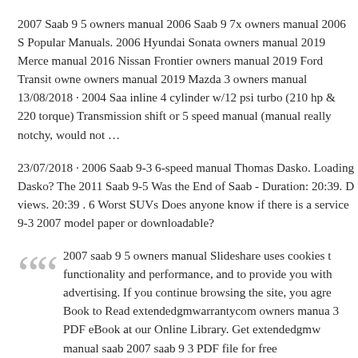2007 Saab 9 5 owners manual 2006 Saab 9 7x owners manual 2006 S Popular Manuals. 2006 Hyundai Sonata owners manual 2019 Merce manual 2016 Nissan Frontier owners manual 2019 Ford Transit owne owners manual 2019 Mazda 3 owners manual 13/08/2018 · 2004 Saa inline 4 cylinder w/12 psi turbo (210 hp & 220 torque) Transmission shift or 5 speed manual (manual really notchy, would not …
23/07/2018 · 2006 Saab 9-3 6-speed manual Thomas Dasko. Loading Dasko? The 2011 Saab 9-5 Was the End of Saab - Duration: 20:39. D views. 20:39 . 6 Worst SUVs Does anyone know if there is a service 9-3 2007 model paper or downloadable?
2007 saab 9 5 owners manual Slideshare uses cookies t functionality and performance, and to provide you with advertising. If you continue browsing the site, you agre Book to Read extendedgmwarrantycom owners manua 3 PDF eBook at our Online Library. Get extendedgmw manual saab 2007 saab 9 3 PDF file for free